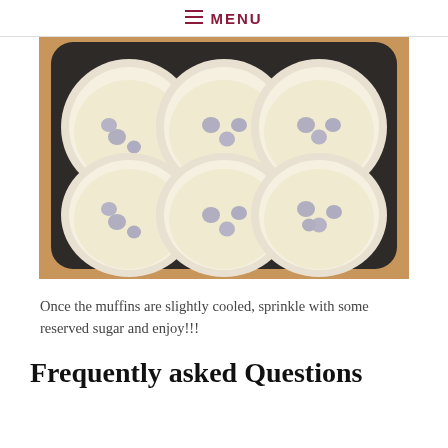≡ MENU
[Figure (photo): A dark non-stick muffin tin with 6 cups, each lined with a white paper cupcake liner filled with pale yellow batter containing blueberries, resting on a wooden surface.]
Once the muffins are slightly cooled, sprinkle with some reserved sugar and enjoy!!!
Frequently asked Questions